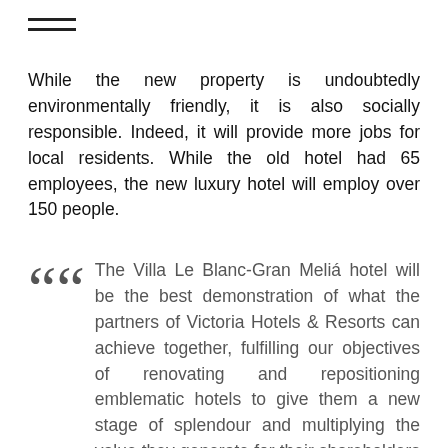While the new property is undoubtedly environmentally friendly, it is also socially responsible. Indeed, it will provide more jobs for local residents. While the old hotel had 65 employees, the new luxury hotel will employ over 150 people.
The Villa Le Blanc-Gran Meliá hotel will be the best demonstration of what the partners of Victoria Hotels & Resorts can achieve together, fulfilling our objectives of renovating and repositioning emblematic hotels to give them a new stage of splendour and multiplying the value they generate for their shareholders and for the